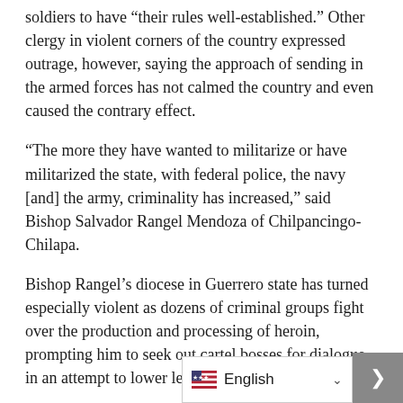soldiers to have “their rules well-established.” Other clergy in violent corners of the country expressed outrage, however, saying the approach of sending in the armed forces has not calmed the country and even caused the contrary effect.
“The more they have wanted to militarize or have militarized the state, with federal police, the navy [and] the army, criminality has increased,” said Bishop Salvador Rangel Mendoza of Chilpancingo-Chilapa.
Bishop Rangel’s diocese in Guerrero state has turned especially violent as dozens of criminal groups fight over the production and processing of heroin, prompting him to seek out cartel bosses for dialogue in an attempt to lower levels of violence.
“I’ve said that sending soldiers into the streets . . . isn’t going to fix anything,” he told local media. “There has to be a dialogue, an attempt at approaching [those in illegal activities] as a way of lowering c